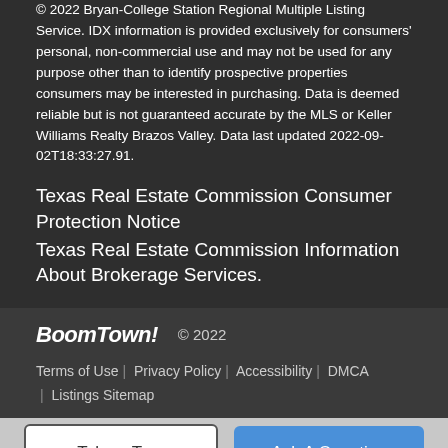© 2022 Bryan-College Station Regional Multiple Listing Service. IDX information is provided exclusively for consumers' personal, non-commercial use and may not be used for any purpose other than to identify prospective properties consumers may be interested in purchasing. Data is deemed reliable but is not guaranteed accurate by the MLS or Keller Williams Realty Brazos Valley. Data last updated 2022-09-02T18:33:27.91.
Texas Real Estate Commission Consumer Protection Notice
Texas Real Estate Commission Information About Brokerage Services.
BoomTown! © 2022 | Terms of Use | Privacy Policy | Accessibility | DMCA | Listings Sitemap
Take a Tour
Ask A Question